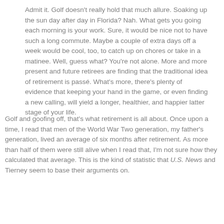Admit it. Golf doesn't really hold that much allure. Soaking up the sun day after day in Florida? Nah. What gets you going each morning is your work. Sure, it would be nice not to have such a long commute. Maybe a couple of extra days off a week would be cool, too, to catch up on chores or take in a matinee. Well, guess what? You're not alone. More and more present and future retirees are finding that the traditional idea of retirement is passé. What's more, there's plenty of evidence that keeping your hand in the game, or even finding a new calling, will yield a longer, healthier, and happier latter stage of your life.
Golf and goofing off, that's what retirement is all about. Once upon a time, I read that men of the World War Two generation, my father's generation, lived an average of six months after retirement. As more than half of them were still alive when I read that, I'm not sure how they calculated that average. This is the kind of statistic that U.S. News and Tierney seem to base their arguments on.